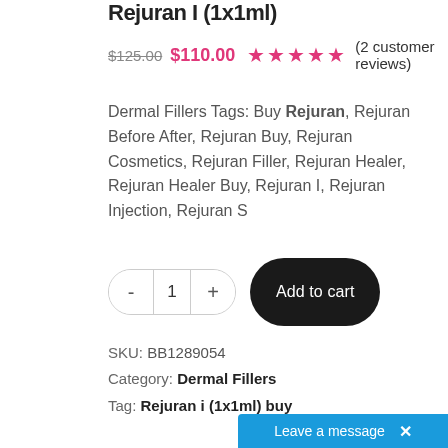Rejuran I (1x1ml)
$125.00  $110.00  ★★★★★ (2 customer reviews)
Dermal Fillers Tags: Buy Rejuran, Rejuran Before After, Rejuran Buy, Rejuran Cosmetics, Rejuran Filler, Rejuran Healer, Rejuran Healer Buy, Rejuran I, Rejuran Injection, Rejuran S
- 1 + Add to cart
SKU: BB1289054
Category: Dermal Fillers
Tag: Rejuran i (1x1ml) buy
Leave a message  X